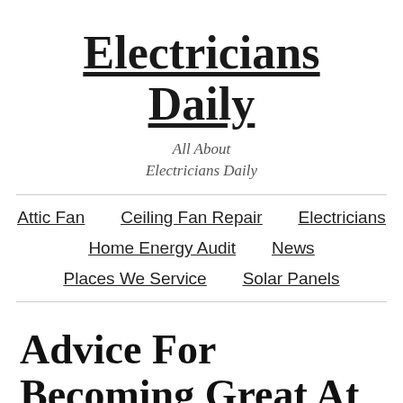Electricians Daily
All About Electricians Daily
Attic Fan   Ceiling Fan Repair   Electricians   Home Energy Audit   News   Places We Service   Solar Panels
Advice For Becoming Great At Network Marketing